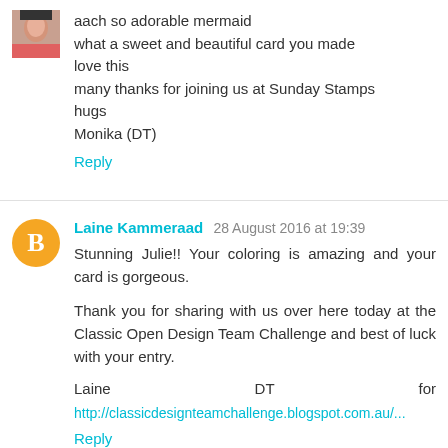[Figure (photo): Small profile photo of a person (top-left avatar)]
aach so adorable mermaid
what a sweet and beautiful card you made
love this
many thanks for joining us at Sunday Stamps
hugs
Monika (DT)
Reply
[Figure (logo): Orange circular Blogger icon with white B]
Laine Kammeraad  28 August 2016 at 19:39
Stunning Julie!! Your coloring is amazing and your card is gorgeous.

Thank you for sharing with us over here today at the Classic Open Design Team Challenge and best of luck with your entry.

Laine    DT    for
http://classicdesignteamchallenge.blogspot.com.au/...
Reply